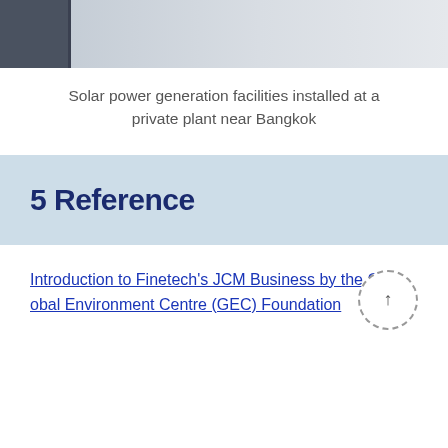[Figure (photo): Partial view of solar power generation facilities — dark panel frames on the left, light-colored equipment on the right]
Solar power generation facilities installed at a private plant near Bangkok
5 Reference
Introduction to Finetech's JCM Business by the Global Environment Centre (GEC) Foundation